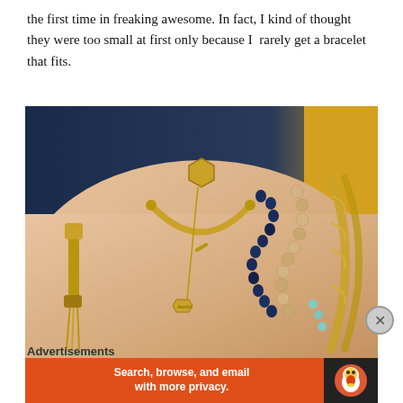the first time in freaking awesome. In fact, I kind of thought they were too small at first only because I rarely get a bracelet that fits.
[Figure (photo): Close-up photo of a wrist wearing multiple bracelets including a gold tassel bracelet, a gold toggle/wishbone style bracelet with hexagon charm and tag charm, a navy blue beaded bracelet, a wooden bead bracelet, a mint/turquoise beaded bracelet, and a gold braided leather bracelet. Background shows dark blue fabric and a yellow object.]
Advertisements
[Figure (screenshot): Orange advertisement banner with text 'Search, browse, and email with more privacy.' and a DuckDuckGo duck icon on a dark background on the right side.]